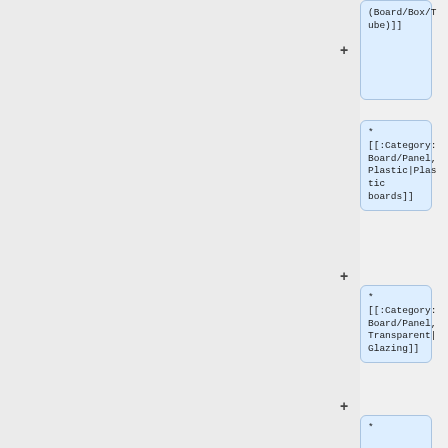* [[:Category:Board/Box/Tube]]
* [[:Category:Board/Panel, Plastic|Plastic boards]]
* [[:Category:Board/Panel, Transparent|Glazing]]
* [[:Category:Board/Panel, Composite|Composite boards]]